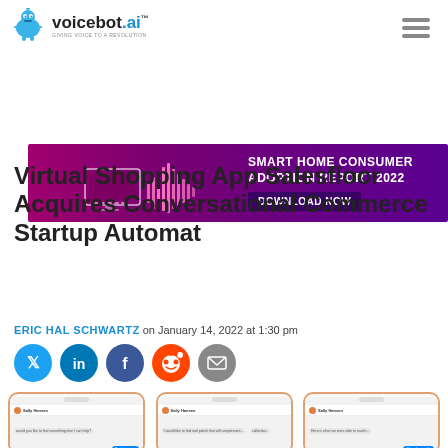[Figure (logo): Voicebot.ai logo with robot head icon and tagline 'GIVING VOICE TO A REVOLUTION']
[Figure (infographic): Smart Home Consumer Adoption Report 2022 advertisement banner - purple/magenta background with waveform graphic, smart TV illustration, text 'SMART HOME CONSUMER ADOPTION REPORT 2022' and 'DOWNLOAD NOW' button]
Virtual Shopping App Salesfloor Acquires Conversational Commerce Startup Automat
ERIC HAL SCHWARTZ on January 14, 2022 at 1:30 pm
[Figure (infographic): Social sharing icons row: Twitter (blue), LinkedIn (blue), Facebook (dark blue), Reddit (orange), Email (grey)]
[Figure (photo): Three iPhone mockups showing chat interface screenshots with Sally Hansen conversation]